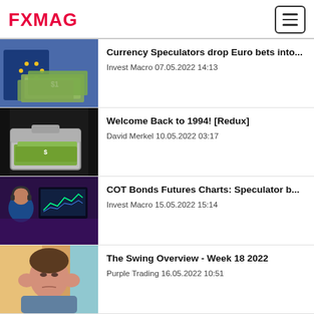FXMAG
[Figure (photo): EU passport with US dollar bills]
Currency Speculators drop Euro bets into...
Invest Macro 07.05.2022 14:13
[Figure (photo): Silver briefcase full of US dollar bills]
Welcome Back to 1994! [Redux]
David Merkel 10.05.2022 03:17
[Figure (photo): Person with headphones at computer trading screens]
COT Bonds Futures Charts: Speculator b...
Invest Macro 15.05.2022 15:14
[Figure (photo): Man with headache holding his temples]
The Swing Overview - Week 18 2022
Purple Trading 16.05.2022 10:51